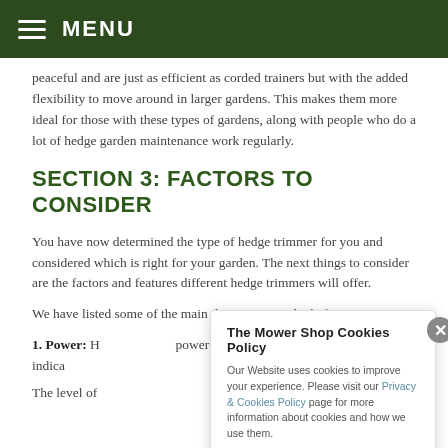MENU
peaceful and are just as efficient as corded trainers but with the added flexibility to move around in larger gardens. This makes them more ideal for those with these types of gardens, along with people who do a lot of hedge garden maintenance work regularly.
SECTION 3: FACTORS TO CONSIDER
You have now determined the type of hedge trimmer for you and considered which is right for your garden. The next things to consider are the factors and features different hedge trimmers will offer.
We have listed some of the main things to consider before you
1. Power: H... power you o... power outp... main indica...
The level of
The Mower Shop Cookies Policy
Our Website uses cookies to improve your experience. Please visit our Privacy & Cookies Policy page for more information about cookies and how we use them.